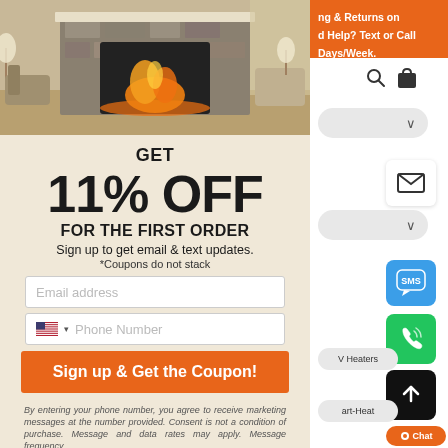[Figure (photo): Living room with stone fireplace and glowing fire, armchairs, lamps, and curtained window in background]
GET
11% OFF
FOR THE FIRST ORDER
Sign up to get email & text updates.
*Coupons do not stack
Email address
Phone Number
Sign up & Get the Coupon!
By entering your phone number, you agree to receive marketing messages at the number provided. Consent is not a condition of purchase. Message and data rates may apply. Message frequency
ng & Returns on
d Help? Text or Call
Days/Week.
V Heaters
art-Heat
Chat